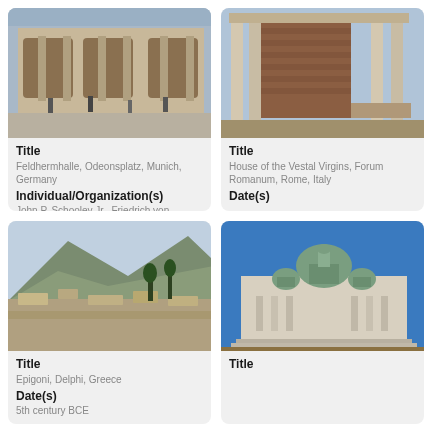[Figure (photo): Feldhermhalle, Odeonsplatz, Munich, Germany - a historic arcaded building with people in the plaza]
Title
Feldhermhalle, Odeonsplatz, Munich, Germany
Individual/Organization(s)
John P. Schooley Jr., Friedrich von Gärtner
[Figure (photo): House of the Vestal Virgins, Forum Romanum, Rome, Italy - ancient Roman ruins with columns]
Title
House of the Vestal Virgins, Forum Romanum, Rome, Italy
Date(s)
[Figure (photo): Epigoni, Delphi, Greece - ancient ruins with mountain backdrop]
Title
Epigoni, Delphi, Greece
Date(s)
5th century BCE
[Figure (photo): A large neoclassical cathedral with green domes against blue sky]
Title